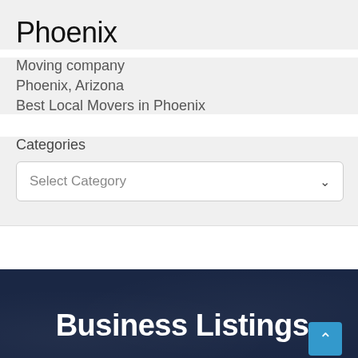Phoenix
Moving company
Phoenix, Arizona
Best Local Movers in Phoenix
Categories
Select Category
Business Listings